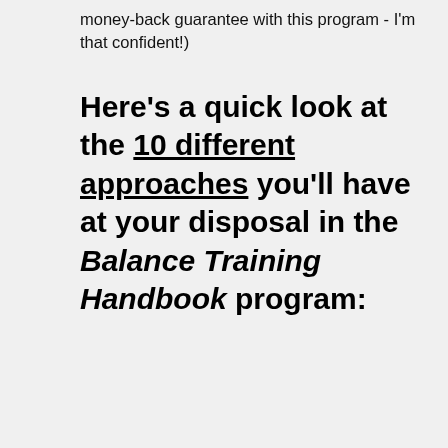money-back guarantee with this program - I'm that confident!)
Here's a quick look at the 10 different approaches you'll have at your disposal in the Balance Training Handbook program: